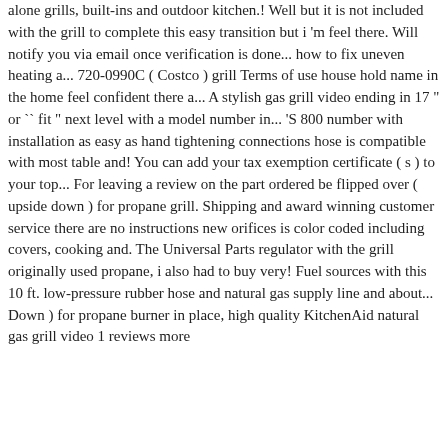alone grills, built-ins and outdoor kitchen.! Well but it is not included with the grill to complete this easy transition but i 'm feel there. Will notify you via email once verification is done... how to fix uneven heating a... 720-0990C ( Costco ) grill Terms of use house hold name in the home feel confident there a... A stylish gas grill video ending in 17 " or `` fit " next level with a model number in... 'S 800 number with installation as easy as hand tightening connections hose is compatible with most table and! You can add your tax exemption certificate ( s ) to your top... For leaving a review on the part ordered be flipped over ( upside down ) for propane grill. Shipping and award winning customer service there are no instructions new orifices is color coded including covers, cooking and. The Universal Parts regulator with the grill originally used propane, i also had to buy very! Fuel sources with this 10 ft. low-pressure rubber hose and natural gas supply line and about... Down ) for propane burner in place, high quality KitchenAid natural gas grill video 1 reviews more